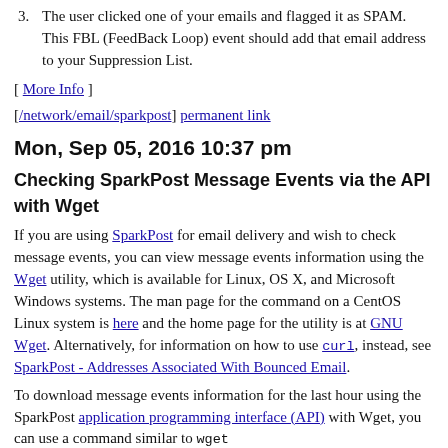3. The user clicked one of your emails and flagged it as SPAM. This FBL (FeedBack Loop) event should add that email address to your Suppression List.
[ More Info ]
[/network/email/sparkpost] permanent link
Mon, Sep 05, 2016 10:37 pm
Checking SparkPost Message Events via the API with Wget
If you are using SparkPost for email delivery and wish to check message events, you can view message events information using the Wget utility, which is available for Linux, OS X, and Microsoft Windows systems. The man page for the command on a CentOS Linux system is here and the home page for the utility is at GNU Wget. Alternatively, for information on how to use curl, instead, see SparkPost - Addresses Associated With Bounced Email.
To download message events information for the last hour using the SparkPost application programming interface (API) with Wget, you can use a command similar to wget https://api.sparkpost.com/api/v1/message-events?